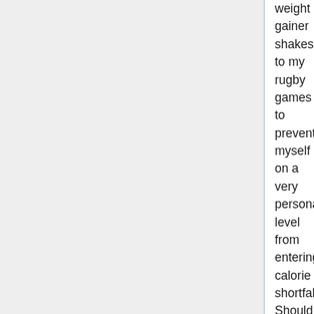weight gainer shakes to my rugby games to prevent myself on a very personal level from entering calorie shortfall. Should you play football, hockey, soccer or even any specific activity that will need that you melt off a lot of energy you will have to ensure you take into account these burnt calories with your daily totals. Try blending a weight gainer up with how to gain weight and put it on your bottle (your coach can't notice this way).
Eat 6-8 meals. This offers your body a regular flow of nutrients and it likewise tricks yourself so that it stores less fat.
Get 8 hours of sleep. Drink a minimum of a gallon of water every day. Whenever